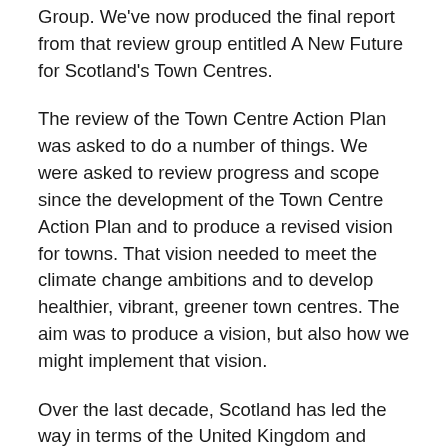Group. We've now produced the final report from that review group entitled A New Future for Scotland's Town Centres.
The review of the Town Centre Action Plan was asked to do a number of things. We were asked to review progress and scope since the development of the Town Centre Action Plan and to produce a revised vision for towns. That vision needed to meet the climate change ambitions and to develop healthier, vibrant, greener town centres. The aim was to produce a vision, but also how we might implement that vision.
Over the last decade, Scotland has led the way in terms of the United Kingdom and Ireland in the way it looked at town centres. The National Review of Town Centres, led by Malcolm Fraser in 2012/13 was a major step forward